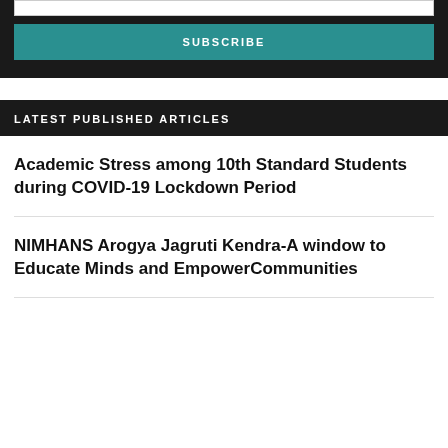[Figure (other): Dark background section with a white input field and a teal SUBSCRIBE button]
LATEST PUBLISHED ARTICLES
Academic Stress among 10th Standard Students during COVID-19 Lockdown Period
NIMHANS Arogya Jagruti Kendra-A window to Educate Minds and EmpowerCommunities